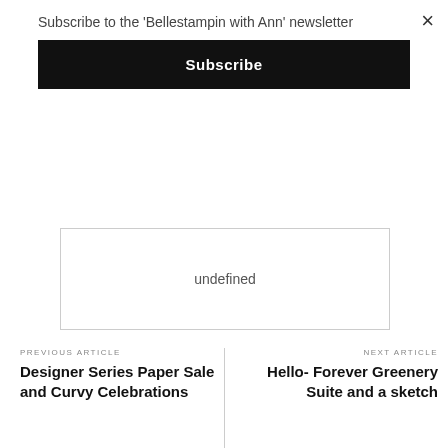Subscribe to the 'Bellestampin with Ann' newsletter
Subscribe
undefined
PREVIOUS ARTICLE
Designer Series Paper Sale and Curvy Celebrations
NEXT ARTICLE
Hello- Forever Greenery Suite and a sketch
YOU MIGHT ALSO LIKE
Christmas Countdown Project Kit